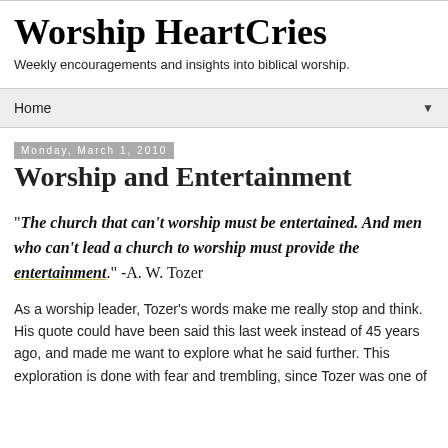Worship HeartCries
Weekly encouragements and insights into biblical worship.
Home ▼
Monday, March 1, 2010
Worship and Entertainment
"The church that can't worship must be entertained. And men who can't lead a church to worship must provide the entertainment." -A. W. Tozer
As a worship leader, Tozer's words make me really stop and think. His quote could have been said this last week instead of 45 years ago, and made me want to explore what he said further. This exploration is done with fear and trembling, since Tozer was one of